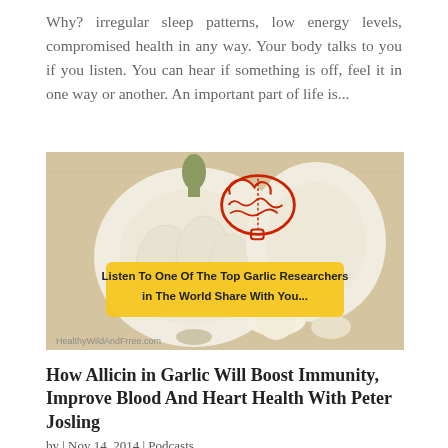Why? irregular sleep patterns, low energy levels, compromised health in any way. Your body talks to you if you listen. You can hear if something is off, feel it in one way or another. An important part of life is...
[Figure (photo): Photo of garlic bulbs and cloves on a wooden surface with a red brain icon overlay and a yellow banner reading 'Listen To One Of The Top Garlic Researchers in The World Share With You...' Watermark at bottom left: HealthyWildAndFrree.com]
How Allicin in Garlic Will Boost Immunity, Improve Blood And Heart Health With Peter Josling
by | Nov 14, 2014 | Podcasts